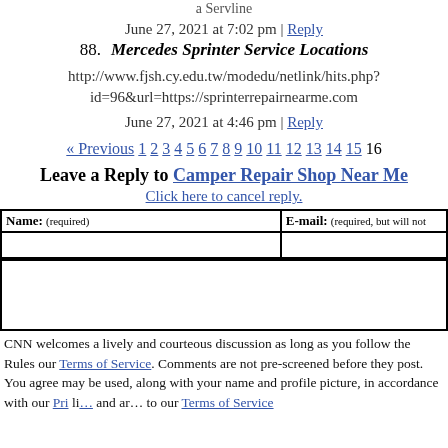a Servline
June 27, 2021 at 7:02 pm | Reply
88. Mercedes Sprinter Service Locations
http://www.fjsh.cy.edu.tw/modedu/netlink/hits.php?id=96&url=https://sprinterrepairnearme.com
June 27, 2021 at 4:46 pm | Reply
« Previous 1 2 3 4 5 6 7 8 9 10 11 12 13 14 15 16
Leave a Reply to Camper Repair Shop Near Me
Click here to cancel reply.
Name: (required)
E-mail: (required, but will not be published)
CNN welcomes a lively and courteous discussion as long as you follow the Rules of our Terms of Service. Comments are not pre-screened before they post. You agree that anything you post may be used, along with your name and profile picture, in accordance with our Pri... li... and ar... to our Terms of Service.